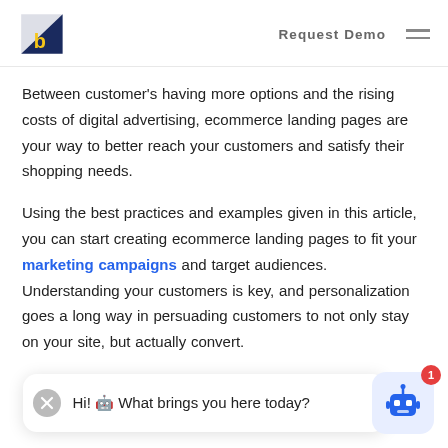Request Demo
Between customer's having more options and the rising costs of digital advertising, ecommerce landing pages are your way to better reach your customers and satisfy their shopping needs.
Using the best practices and examples given in this article, you can start creating ecommerce landing pages to fit your marketing campaigns and target audiences. Understanding your customers is key, and personalization goes a long way in persuading customers to not only stay on your site, but actually convert.
Hi! 🤖 What brings you here today?